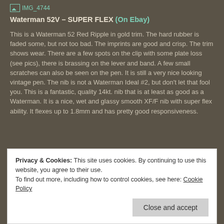[Figure (other): Broken image placeholder labeled IMG_4744 in teal color]
Waterman 52V – SUPER FLEX (On Ebay)
This is a Waterman 52 Red Ripple in gold trim. The hard rubber is faded some, but not too bad. The imprints are good and crisp. The trim shows wear. There are a few spots on the clip with some plate loss (see pics), there is brassing on the lever and band. A few small scratches can also be seen on the pen. It is still a very nice looking vintage pen. The nib is not a Waterman Ideal #2, but don't let that fool you. This is a fantastic, quality 14kt. nib that is at least as good as a Waterman. It is a nice, wet and glassy smooth XF/F nib with super flex ability. It flexes up to 1.8mm and has pretty good responsiveness.
Privacy & Cookies: This site uses cookies. By continuing to use this website, you agree to their use.
To find out more, including how to control cookies, see here: Cookie Policy